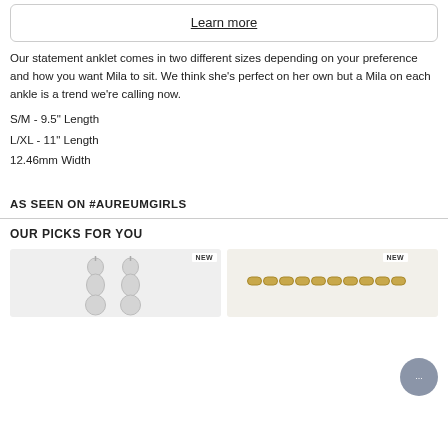Learn more
Our statement anklet comes in two different sizes depending on your preference and how you want Mila to sit. We think she's perfect on her own but a Mila on each ankle is a trend we're calling now.
S/M - 9.5" Length
L/XL - 11" Length
12.46mm Width
AS SEEN ON #AUREUMGIRLS
OUR PICKS FOR YOU
[Figure (photo): Two product cards side by side showing jewelry items with NEW badges]
[Figure (other): Chat bubble widget with ellipsis]